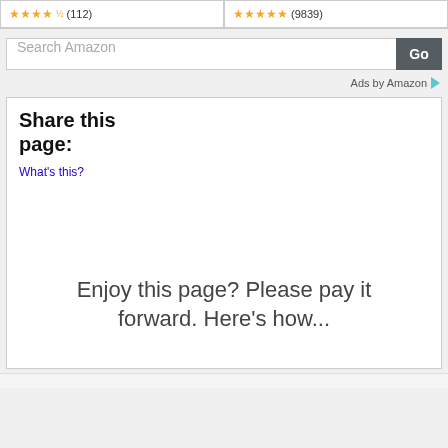[Figure (screenshot): Two product rating widgets side by side showing star ratings: left shows 4.5 stars (112) and right shows 5 stars (9839)]
[Figure (screenshot): Amazon search bar with text 'Search Amazon' and a dark 'Go' button]
Ads by Amazon
Share this page:
What's this?
Enjoy this page? Please pay it forward. Here's how...